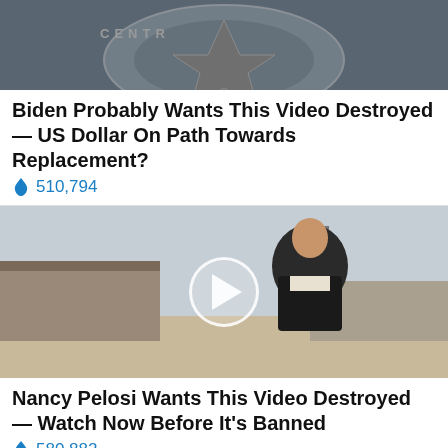[Figure (photo): Partial image of CIA seal/logo on floor, cut off at top]
Biden Probably Wants This Video Destroyed — US Dollar On Path Towards Replacement?
🔥 510,794
[Figure (photo): Woman in black jacket smiling outdoors near industrial buildings, with a video play button overlay]
Nancy Pelosi Wants This Video Destroyed — Watch Now Before It's Banned
🔥 580,882